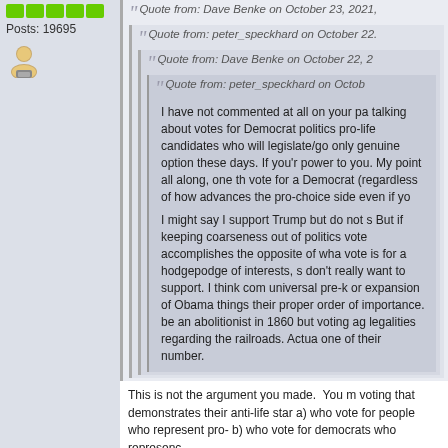Posts: 19695
Quote from: Dave Benke on October 23, 2021,
Quote from: peter_speckhard on October 22...
Quote from: Dave Benke on October 22, 2...
Quote from: peter_speckhard on Octob...
I have not commented at all on your pa... talking about votes for Democrat politics... pro-life candidates who will legislate/go... only genuine option these days. If you'r... power to you. My point all along, one th... vote for a Democrat (regardless of how... advances the pro-choice side even if yo...

I might say I support Trump but do not s... But if keeping coarseness out of politics... vote accomplishes the opposite of wha... vote is for a hodgepodge of interests, s... don't really want to support. I think com... universal pre-k or expansion of Obama... things their proper order of importance.... be an abolitionist in 1860 but voting aga... legalities regarding the railroads. Actua... one of their number.
This is not the argument you made.  You m... voting that demonstrates their anti-life star... a) who vote for people who represent pro-... b) who vote for democrats who represent...